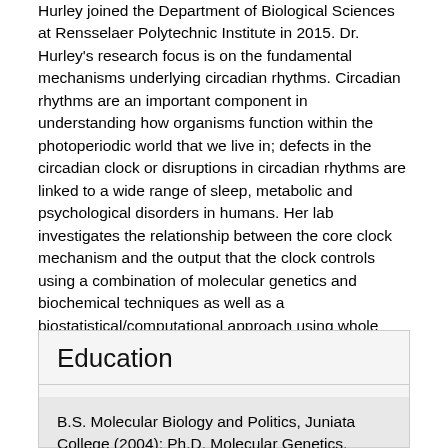Hurley joined the Department of Biological Sciences at Rensselaer Polytechnic Institute in 2015. Dr. Hurley's research focus is on the fundamental mechanisms underlying circadian rhythms. Circadian rhythms are an important component in understanding how organisms function within the photoperiodic world that we live in; defects in the circadian clock or disruptions in circadian rhythms are linked to a wide range of sleep, metabolic and psychological disorders in humans. Her lab investigates the relationship between the core clock mechanism and the output that the clock controls using a combination of molecular genetics and biochemical techniques as well as a biostatistical/computational approach using whole genome scale data. Her lab has been awarded the Society for Research on Biological Rhythms Junior Faculty Research Award as well as the Rensselaer School of Science Junior Faculty Research Award.
Education
B.S. Molecular Biology and Politics, Juniata College (2004); Ph.D. Molecular Genetics, Microbiology and